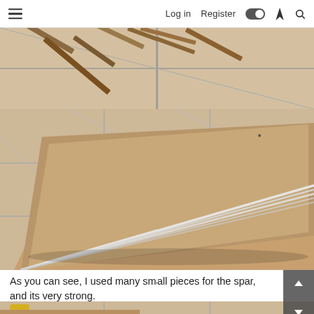Log in   Register
[Figure (photo): Top portion of a photo showing wooden sticks/strips scattered on a tiled floor]
[Figure (photo): A photo of a large brown cardboard/MDF board on a tiled floor with several thin white strips (spars) laid diagonally across it, converging at the left side]
As you can see, I used many small pieces for the spar, and its very strong.
[Figure (photo): Bottom portion of a photo showing a tiled floor with a yellow-handled saw and some board pieces visible]